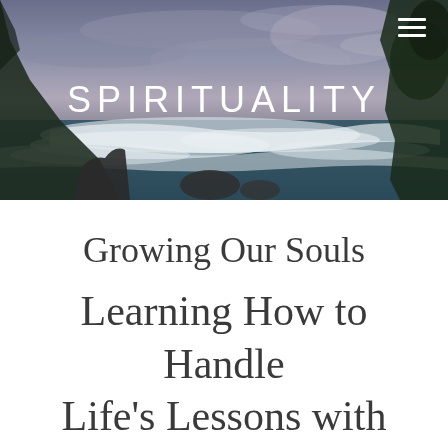[Figure (photo): Panoramic coastal landscape photo showing dramatic ocean waves crashing against rocky cliffs with trees, under a moody overcast sky with purple-blue tones. The word SPIRITUALITY is overlaid in white uppercase letters in the center of the image.]
Growing Our Souls Learning How to Handle Life's Lessons with Grace and Ease